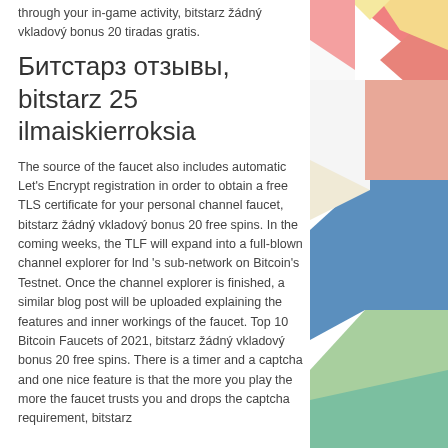through your in-game activity, bitstarz žádný vkladový bonus 20 tiradas gratis.
Битстарз отзывы, bitstarz 25 ilmaiskierroksia
The source of the faucet also includes automatic Let's Encrypt registration in order to obtain a free TLS certificate for your personal channel faucet, bitstarz žádný vkladový bonus 20 free spins. In the coming weeks, the TLF will expand into a full-blown channel explorer for lnd 's sub-network on Bitcoin's Testnet. Once the channel explorer is finished, a similar blog post will be uploaded explaining the features and inner workings of the faucet. Top 10 Bitcoin Faucets of 2021, bitstarz žádný vkladový bonus 20 free spins. There is a timer and a captcha and one nice feature is that the more you play the more the faucet trusts you and drops the captcha requirement, bitstarz
[Figure (illustration): Decorative geometric shapes panel on the right side of the page with colorful triangles and rectangles in pink, salmon, yellow, blue, teal, and green colors]